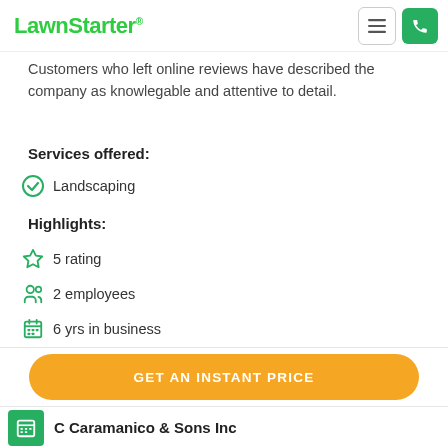LawnStarter
Customers who left online reviews have described the company as knowlegable and attentive to detail.
Services offered:
Landscaping
Highlights:
5 rating
2 employees
6 yrs in business
GET AN INSTANT PRICE
C Caramanico & Sons Inc